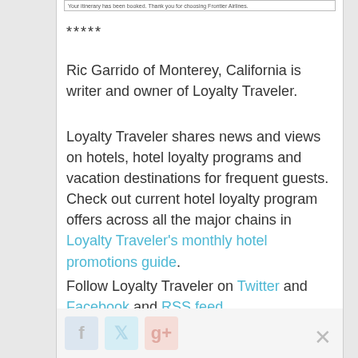[Figure (screenshot): Itinerary confirmation bar: 'Your itinerary has been booked. Thank you for choosing Frontier Airlines.']
*****
Ric Garrido of Monterey, California is writer and owner of Loyalty Traveler.
Loyalty Traveler shares news and views on hotels, hotel loyalty programs and vacation destinations for frequent guests. Check out current hotel loyalty program offers across all the major chains in Loyalty Traveler's monthly hotel promotions guide.
Follow Loyalty Traveler on Twitter and Facebook and RSS feed.
[Figure (other): Social media share bar with Facebook, Twitter, Google+ icons and a close (X) button]